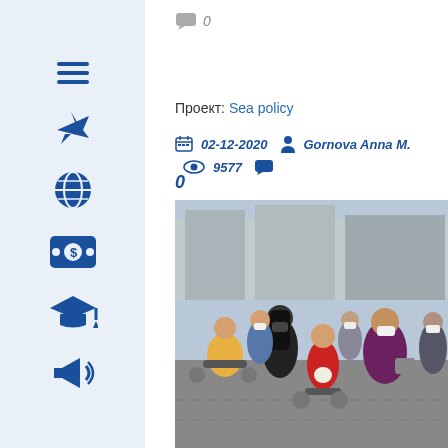0
Проект: Sea policy
02-12-2020  Gornova Anna M.  9577  0
[Figure (photo): Group of people wearing masks, some in wheelchairs, gathered outdoors in a public square. Buildings visible in the background.]